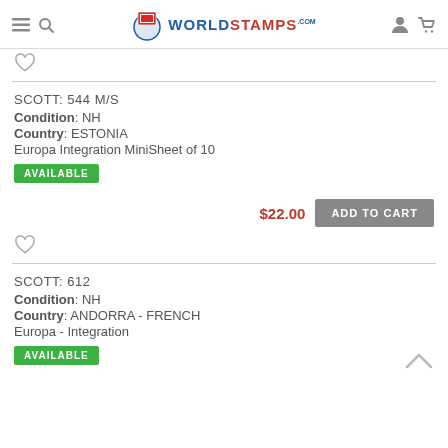WorldStamps.com
SCOTT: 544 M/S
Condition: NH
Country: ESTONIA
Europa Integration MiniSheet of 10
AVAILABLE
$22.00  ADD TO CART
SCOTT: 612
Condition: NH
Country: ANDORRA - FRENCH
Europa - Integration
AVAILABLE